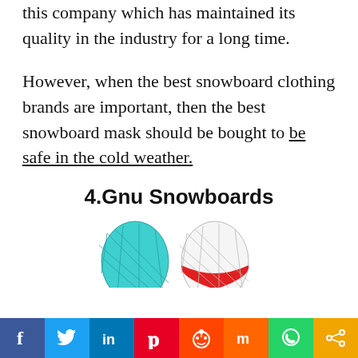You can definitely buy from this company which has maintained its quality in the industry for a long time.
However, when the best snowboard clothing brands are important, then the best snowboard mask should be bought to be safe in the cold weather.
4.Gnu Snowboards
[Figure (illustration): Two snowboard helmet illustrations, one teal/blue with mesh pattern and one white/red with web pattern, partially visible at bottom of page]
Social share bar: Facebook, Twitter, LinkedIn, Pinterest, Reddit, Mix, WhatsApp, Share